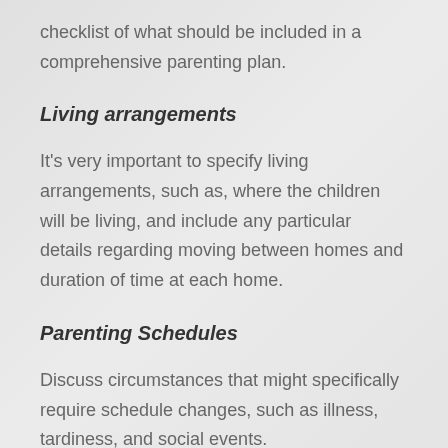checklist of what should be included in a comprehensive parenting plan.
Living arrangements
It's very important to specify living arrangements, such as, where the children will be living, and include any particular details regarding moving between homes and duration of time at each home.
Parenting Schedules
Discuss circumstances that might specifically require schedule changes, such as illness, tardiness, and social events.